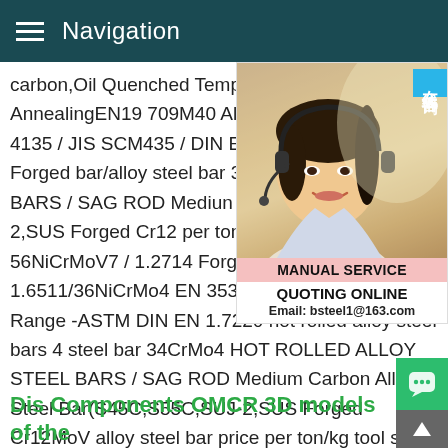Navigation
carbon,Oil Quenched Tempered Hardness AnnealingEN19 709M40 Alloy Steel Bar In ASTM 4135 / JIS SCM435 / DIN EN 1.722 bars 40Cr Forged bar/alloy steel bar 34Cr ALLOY STEEL BARS / SAG ROD Medium Bar(S45C,S55C,SUJ-2,SUS Forged Cr12 per ton/kg tool steel 56NiCrMoV7 / 1.2714 Forged AISI 4340/DIN 1.6511/36NiCrMo4 EN 353 Carbon Steel Wide Range -ASTM DIN EN 1.7220 hot rolled alloy steel bars 4 steel bar 34CrMo4 HOT ROLLED ALLOY STEEL BARS / SAG ROD Medium Carbon Alloy Steel Bar(S45C,S55C,SUJ-2,SUS Forged Cr12MoV alloy steel bar price per ton/kg tool steel 56NiCrMoV7 / 1.2714 forged alloy steel bar Forged AISI 4340/ 1.6511/36NiCrMo4 alloy
[Figure (photo): Customer service representative woman wearing headset, with Chinese text badge '在线咨询' (online consultation), MANUAL SERVICE label, QUOTING ONLINE text, and Email: bsteel1@163.com]
Dis Components OMCR 3D models of the